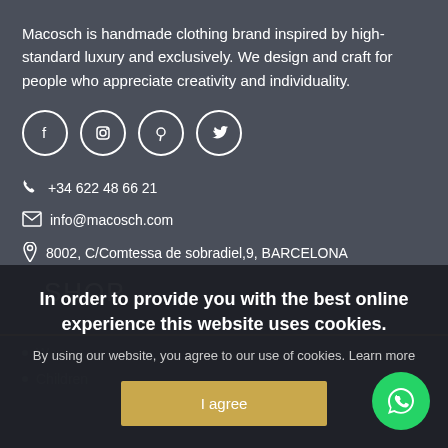Macosch is handmade clothing brand inspired by high-standard luxury and exclusively. We design and craft for people who appreciate creativity and individuality.
[Figure (other): Social media icons: Facebook, Instagram, Pinterest, Twitter — white circle outlines on dark background]
+34 622 48 66 21
info@macosch.com
8002, C/Comtessa de sobradiel,9, BARCELONA
SHOP
Women
Children
In order to provide you with the best online experience this website uses cookies.
By using our website, you agree to our use of cookies. Learn more
I agree